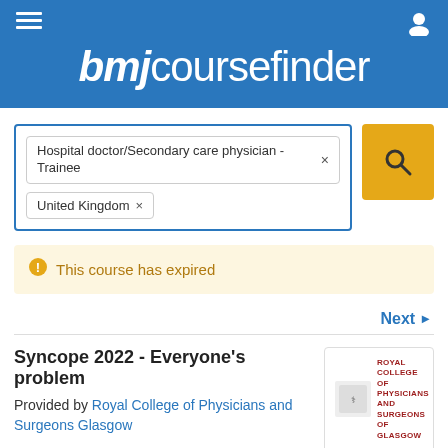[Figure (screenshot): BMJ Course Finder website header with logo, hamburger menu, and user icon on blue background]
Hospital doctor/Secondary care physician - Trainee
United Kingdom
This course has expired
Next ▶
Syncope 2022 - Everyone's problem
Provided by Royal College of Physicians and Surgeons Glasgow
[Figure (logo): Royal College of Physicians and Surgeons of Glasgow logo]